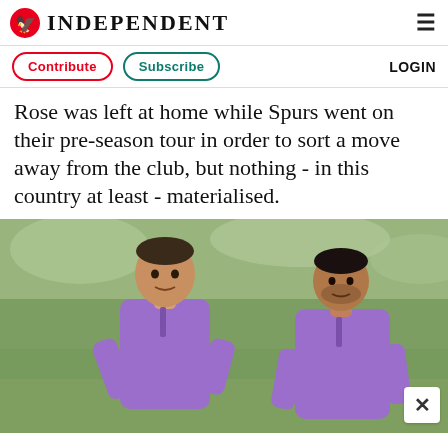INDEPENDENT
Contribute  Subscribe  LOGIN
Rose was left at home while Spurs went on their pre-season tour in order to sort a move away from the club, but nothing - in this country at least - materialised.
[Figure (photo): Two men wearing purple/lilac Tottenham Hotspur training tops standing on a grass training pitch. The man on the left is gesturing with his hand, and the man on the right stands with arms at his sides.]